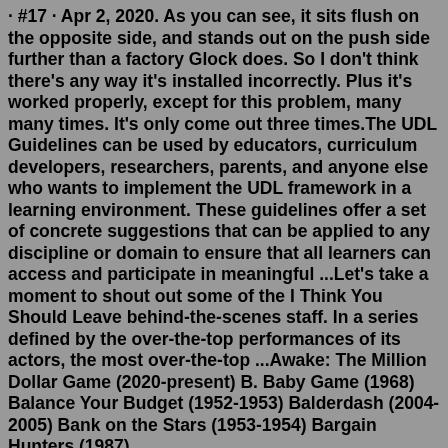· #17 · Apr 2, 2020. As you can see, it sits flush on the opposite side, and stands out on the push side further than a factory Glock does. So I don't think there's any way it's installed incorrectly. Plus it's worked properly, except for this problem, many many times. It's only come out three times.The UDL Guidelines can be used by educators, curriculum developers, researchers, parents, and anyone else who wants to implement the UDL framework in a learning environment. These guidelines offer a set of concrete suggestions that can be applied to any discipline or domain to ensure that all learners can access and participate in meaningful ...Let's take a moment to shout out some of the I Think You Should Leave behind-the-scenes staff. In a series defined by the over-the-top performances of its actors, the most over-the-top ...Awake: The Million Dollar Game (2020-present) B. Baby Game (1968) Balance Your Budget (1952-1953) Balderdash (2004-2005) Bank on the Stars (1953-1954) Bargain Hunters (1987) ... F... You Should Ask (1968-1969) F... You...